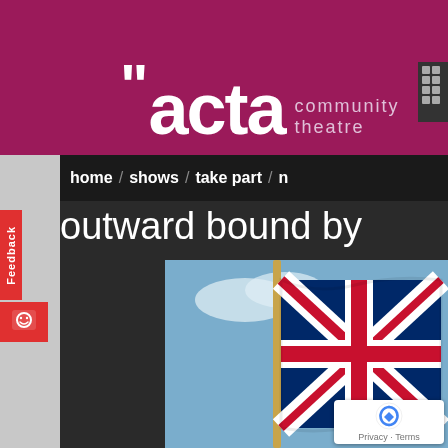[Figure (screenshot): ACTA Community Theatre website screenshot showing magenta header banner with logo, navigation bar with home/shows/take part links, show title 'outward bound by', and a photo of a Union Jack flag]
“acta community theatre
home  /  shows  /  take part  /  n
outward bound by
[Figure (photo): Close-up photograph of a Union Jack (British flag) flying against a blue sky with clouds]
Feedback
Privacy · Terms